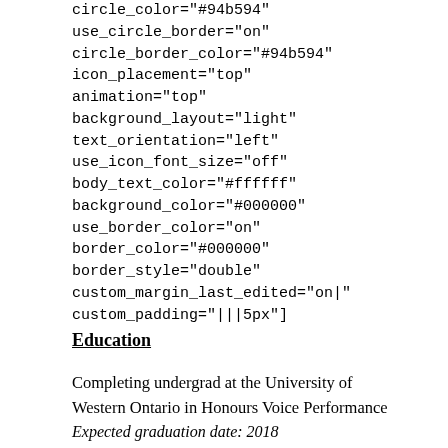circle_color="#94b594" use_circle_border="on" circle_border_color="#94b594" icon_placement="top" animation="top" background_layout="light" text_orientation="left" use_icon_font_size="off" body_text_color="#ffffff" background_color="#000000" use_border_color="on" border_color="#000000" border_style="double" custom_margin_last_edited="on|" custom_padding="|||5px"]
Education
Completing undergrad at the University of Western Ontario in Honours Voice Performance
Expected graduation date: 2018
Training from The Canadian Operatic Arts Academy
2015
Past performances